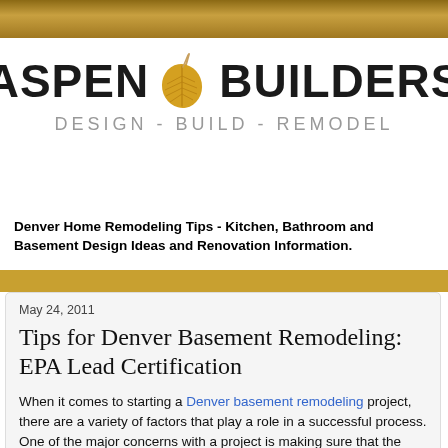[Figure (logo): Aspen Builders logo with golden aspen leaf between the words ASPEN and BUILDERS, with tagline DESIGN - BUILD - REMODEL]
Denver Home Remodeling Tips - Kitchen, Bathroom and Basement Design Ideas and Renovation Information.
May 24, 2011
Tips for Denver Basement Remodeling: EPA Lead Certification
When it comes to starting a Denver basement remodeling project, there are a variety of factors that play a role in a successful process. One of the major concerns with a project is making sure that the materials currently found in